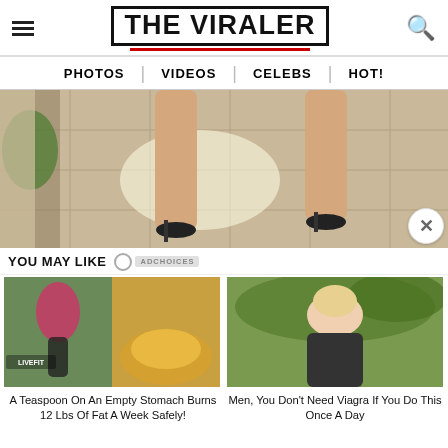THE VIRALER
PHOTOS | VIDEOS | CELEBS | HOT!
[Figure (photo): Close-up photo of a woman's legs in high heels on a tiled floor]
YOU MAY LIKE  ADCHOICES
[Figure (photo): Ad card: woman running and powder - A Teaspoon On An Empty Stomach Burns 12 Lbs Of Fat A Week Safely!]
[Figure (photo): Ad card: woman sitting outdoors - Men, You Don't Need Viagra If You Do This Once A Day]
A Teaspoon On An Empty Stomach Burns 12 Lbs Of Fat A Week Safely!
Men, You Don't Need Viagra If You Do This Once A Day